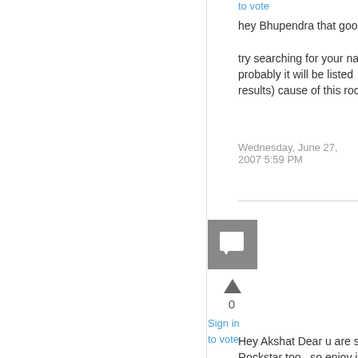to vote
hey Bhupendra that google top 10 is this kind of thing.

try searching for your name in google, and most probably it will be listed  in the first page itself (first 10 results) cause of this rockstar site.
Wednesday, June 27, 2007 5:59 PM
[Figure (illustration): User avatar icon - grey square with white speech bubble/comment icon]
▲
0
Sign in
to vote
Hey Akshat Dear u are still in tentative result and Rockstar too...so enjoy it!!!